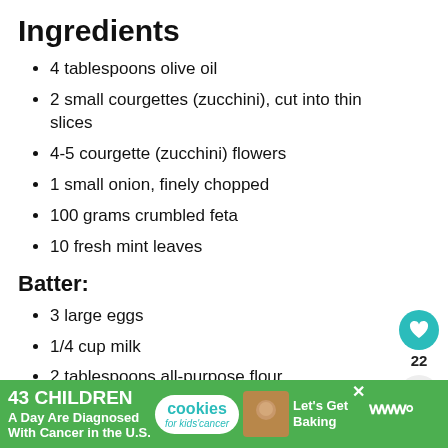Ingredients
4 tablespoons olive oil
2 small courgettes (zucchini), cut into thin slices
4-5 courgette (zucchini) flowers
1 small onion, finely chopped
100 grams crumbled feta
10 fresh mint leaves
Batter:
3 large eggs
1/4 cup milk
2 tablespoons all-purpose flour
[Figure (other): Heart/like button showing 22 likes and a share button]
[Figure (other): What's Next widget showing Sockerkaka Sponge and... with thumbnail]
[Figure (other): Advertisement banner: 43 CHILDREN A Day Are Diagnosed With Cancer in the U.S. / cookies for kids cancer / Let's Get Baking]